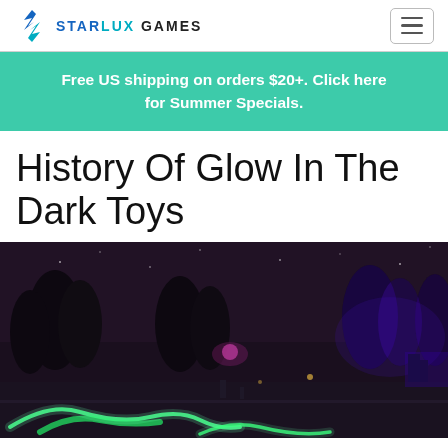STARLUX GAMES
Free US shipping on orders $20+. Click here for Summer Specials.
History Of Glow In The Dark Toys
[Figure (photo): Night-time outdoor scene with glowing neon green light trails and blue/purple illuminated trees and structures in a park setting]